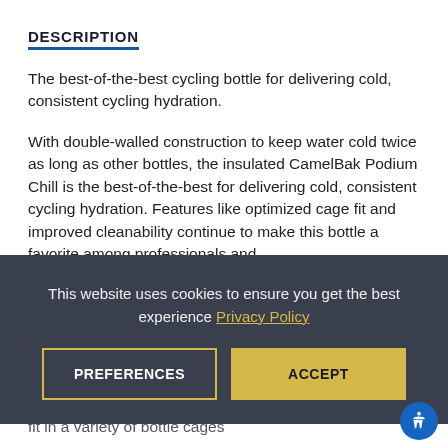DESCRIPTION
The best-of-the-best cycling bottle for delivering cold, consistent cycling hydration.
With double-walled construction to keep water cold twice as long as other bottles, the insulated CamelBak Podium Chill is the best-of-the-best for delivering cold, consistent cycling hydration. Features like optimized cage fit and improved cleanability continue to make this bottle a favorite among professionals and
This website uses cookies to ensure you get the best experience Privacy Policy
PREFERENCES
ACCEPT
fit in a variety of bottle cages